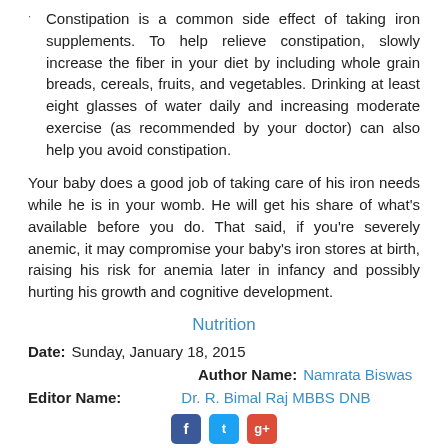Constipation is a common side effect of taking iron supplements. To help relieve constipation, slowly increase the fiber in your diet by including whole grain breads, cereals, fruits, and vegetables. Drinking at least eight glasses of water daily and increasing moderate exercise (as recommended by your doctor) can also help you avoid constipation.
Your baby does a good job of taking care of his iron needs while he is in your womb. He will get his share of what's available before you do. That said, if you're severely anemic, it may compromise your baby's iron stores at birth, raising his risk for anemia later in infancy and possibly hurting his growth and cognitive development.
Nutrition
Date: Sunday, January 18, 2015
Author Name: Namrata Biswas
Editor Name: Dr. R. Bimal Raj MBBS DNB